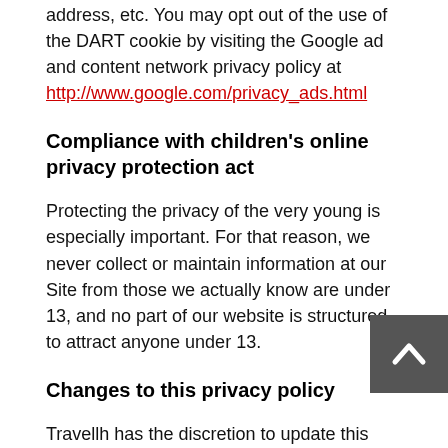address, etc. You may opt out of the use of the DART cookie by visiting the Google ad and content network privacy policy at http://www.google.com/privacy_ads.html
Compliance with children's online privacy protection act
Protecting the privacy of the very young is especially important. For that reason, we never collect or maintain information at our Site from those we actually know are under 13, and no part of our website is structured to attract anyone under 13.
Changes to this privacy policy
Travellh has the discretion to update this privacy policy at any time. When we do, we will post a notification on the main page of our Site. We encourage Users to frequently check this page for any changes to stay informed about how we are helping to protect the personal information